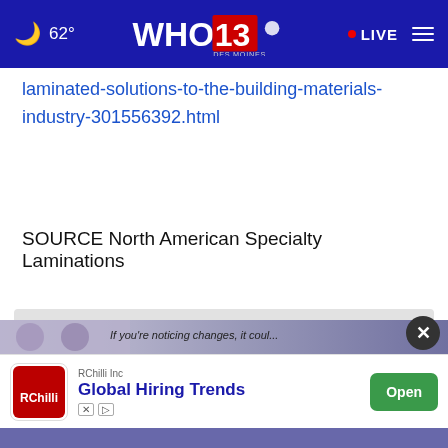62° WHO 13 DES MOINES NBC • LIVE ≡
laminated-solutions-to-the-building-materials-industry-301556392.html
SOURCE North American Specialty Laminations
[Figure (screenshot): Search bar with 'Search by keyword' placeholder text and a blue SEARCH button]
[Figure (screenshot): Advertisement overlay: RChilli Inc - Global Hiring Trends with Open button, close X button, and ad controls]